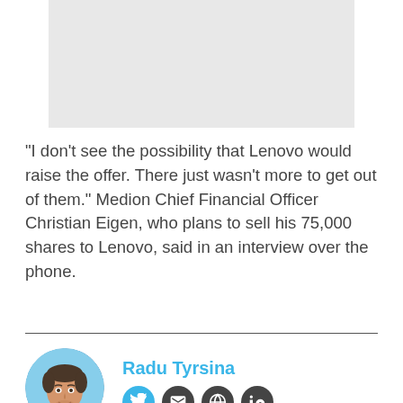[Figure (photo): Gray placeholder image box at top center]
“I don’t see the possibility that Lenovo would raise the offer. There just wasn’t more to get out of them.” Medion Chief Financial Officer Christian Eigen, who plans to sell his 75,000 shares to Lenovo, said in an interview over the phone.
[Figure (photo): Circular profile photo of Radu Tyrsina, a young man smiling, with social media icons for Twitter, Email, Web, and LinkedIn]
Radu Tyrsina